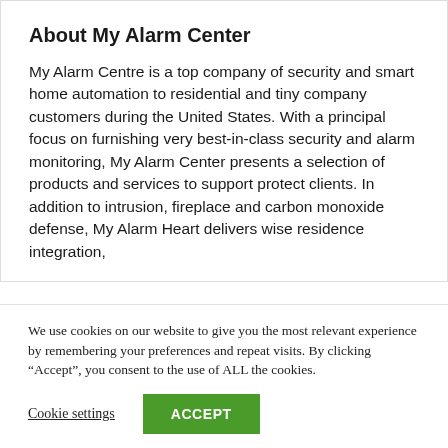About My Alarm Center
My Alarm Centre is a top company of security and smart home automation to residential and tiny company customers during the United States. With a principal focus on furnishing very best-in-class security and alarm monitoring, My Alarm Center presents a selection of products and services to support protect clients. In addition to intrusion, fireplace and carbon monoxide defense, My Alarm Heart delivers wise residence integration,
We use cookies on our website to give you the most relevant experience by remembering your preferences and repeat visits. By clicking “Accept”, you consent to the use of ALL the cookies.
Cookie settings   ACCEPT